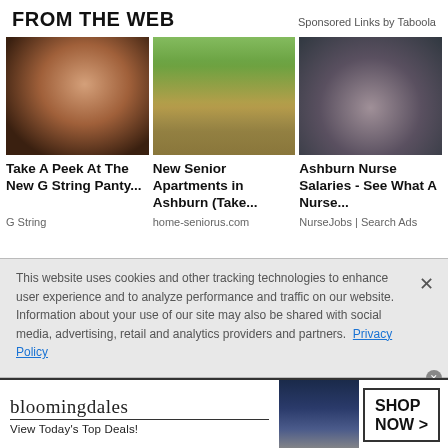FROM THE WEB
Sponsored Links by Taboola
[Figure (photo): Smiling woman with long brown hair]
[Figure (photo): Row of small modern houses with yellow gravel path]
[Figure (photo): Female nurse sitting at desk]
Take A Peek At The New G String Panty...
New Senior Apartments in Ashburn (Take...
Ashburn Nurse Salaries - See What A Nurse...
G String
home-seniorus.com
NurseJobs | Search Ads
This website uses cookies and other tracking technologies to enhance user experience and to analyze performance and traffic on our website. Information about your use of our site may also be shared with social media, advertising, retail and analytics providers and partners.  Privacy Policy
[Figure (logo): Bloomingdales advertisement banner - View Today's Top Deals - SHOP NOW >]